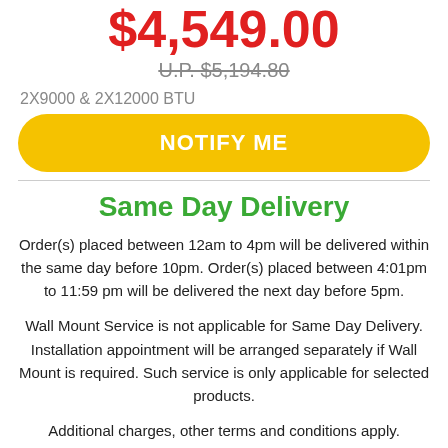$4,549.00
U.P. $5,194.80
2X9000 & 2X12000 BTU
NOTIFY ME
Same Day Delivery
Order(s) placed between 12am to 4pm will be delivered within the same day before 10pm. Order(s) placed between 4:01pm to 11:59 pm will be delivered the next day before 5pm.
Wall Mount Service is not applicable for Same Day Delivery. Installation appointment will be arranged separately if Wall Mount is required. Such service is only applicable for selected products.
Additional charges, other terms and conditions apply.
Terms and Conditions